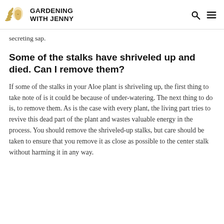GARDENING WITH JENNY
secreting sap.
Some of the stalks have shriveled up and died. Can I remove them?
If some of the stalks in your Aloe plant is shriveling up, the first thing to take note of is it could be because of under-watering. The next thing to do is, to remove them. As is the case with every plant, the living part tries to revive this dead part of the plant and wastes valuable energy in the process. You should remove the shriveled-up stalks, but care should be taken to ensure that you remove it as close as possible to the center stalk without harming it in any way.